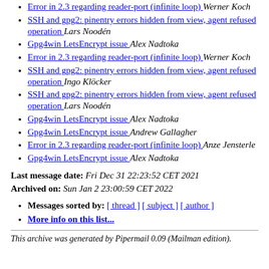Error in 2.3 regarding reader-port (infinite loop)  Werner Koch
SSH and gpg2: pinentry errors hidden from view, agent refused operation  Lars Noodén
Gpg4win LetsEncrypt issue  Alex Nadtoka
Error in 2.3 regarding reader-port (infinite loop)  Werner Koch
SSH and gpg2: pinentry errors hidden from view, agent refused operation  Ingo Klöcker
SSH and gpg2: pinentry errors hidden from view, agent refused operation  Lars Noodén
Gpg4win LetsEncrypt issue  Alex Nadtoka
Gpg4win LetsEncrypt issue  Andrew Gallagher
Error in 2.3 regarding reader-port (infinite loop)  Anze Jensterle
Gpg4win LetsEncrypt issue  Alex Nadtoka
Last message date: Fri Dec 31 22:23:52 CET 2021
Archived on: Sun Jan 2 23:00:59 CET 2022
Messages sorted by: [ thread ] [ subject ] [ author ]
More info on this list...
This archive was generated by Pipermail 0.09 (Mailman edition).